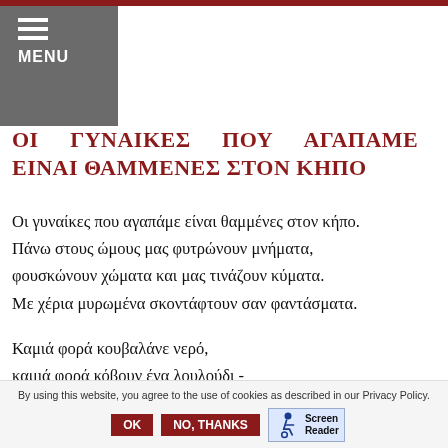MENU
ΟΙ ΓΥΝΑΙΚΕΣ ΠΟΥ ΑΓΑΠΑΜΕ ΕΙΝΑΙ ΘΑΜΜΕΝΕΣ ΣΤΟΝ ΚΗΠΟ
Οι γυναίκες που αγαπάμε είναι θαμμένες στον κήπο.
Πάνω στους ώμους μας φυτρώνουν μνήματα,
φουσκώνουν χώματα και μας τινάζουν κύματα.
Με χέρια μυρωμένα σκοντάφτουν σαν φαντάσματα.
Καμιά φορά κουβαλάνε νερό,
καμιά φορά κόβουν ένα λουλούδι -
By using this website, you agree to the use of cookies as described in our Privacy Policy.   OK   NO, THANKS   Screen Reader